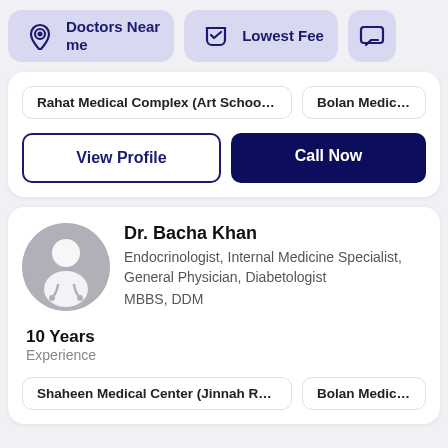[Figure (screenshot): Top navigation bar with 'Doctors Near me' button (location pin icon, purple background), 'Lowest Fee' button (shield icon, purple background), and a partial chat icon button on the right]
Rahat Medical Complex (Art School ...
Bolan Medical U
View Profile
Call Now
Dr. Bacha Khan
Endocrinologist, Internal Medicine Specialist, General Physician, Diabetologist
MBBS, DDM
10 Years
Experience
Shaheen Medical Center (Jinnah Ro...
Bolan Medical...